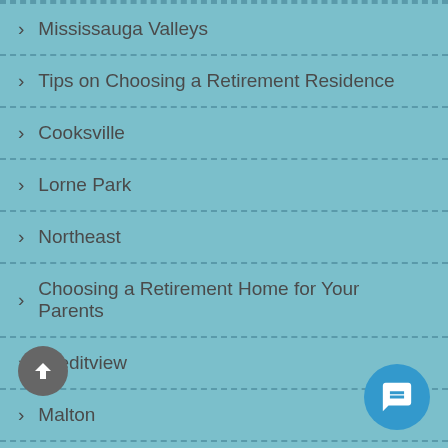Mississauga Valleys
Tips on Choosing a Retirement Residence
Cooksville
Lorne Park
Northeast
Choosing a Retirement Home for Your Parents
Creditview
Malton
Port Credit